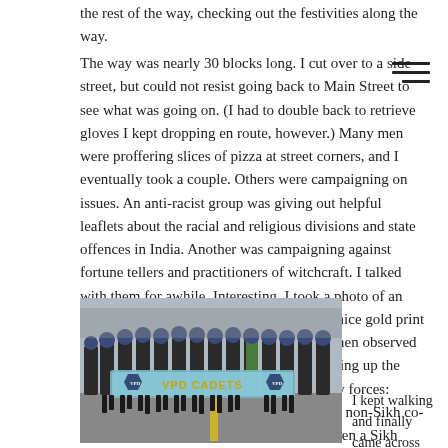the rest of the way, checking out the festivities along the way.
The way was nearly 30 blocks long. I cut over to a side street, but could not resist going back to Main Street to see what was going on. (I had to double back to retrieve gloves I kept dropping en route, however.) Many men were proffering slices of pizza at street corners, and I eventually took a couple. Others were campaigning on issues. An anti-racist group was giving out helpful leaflets about the racial and religious divisions and state offences in India. Another was campaigning against fortune tellers and practitioners of witchcraft. I talked with them for awhile. Interesting. I took a photo of an awning bearing the name of the festival in nice gold print on bright red cloth, under which stern old men observed me. I moved quickly on. A parade was starting up the street's steep grade. There were paramilitary forces: Punjabi officers of the city police with their non-Sikh co-workers all sporting head-scarves. Cool. Then a Sikh biker group followed with their mighty machines painted bright yellow. I took a few photos.
[Figure (photo): A group of VPD Cadets marching in a parade, wearing dark uniforms and blue berets, carrying a banner reading 'VPD CADETS'.]
I kept walking and finally came across the